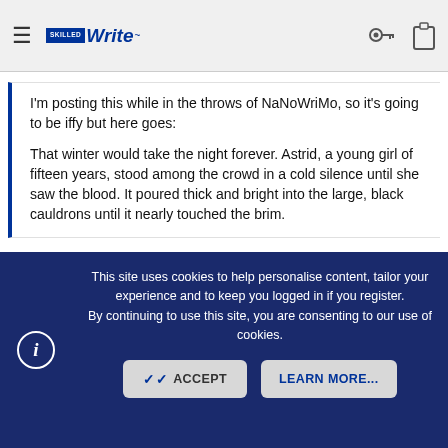≡  [SkilledWrite logo]  🔑  📋
I'm posting this while in the throws of NaNoWriMo, so it's going to be iffy but here goes:
That winter would take the night forever. Astrid, a young girl of fifteen years, stood among the crowd in a cold silence until she saw the blood. It poured thick and bright into the large, black cauldrons until it nearly touched the brim.
Hi BreMiche,
I like the images here, and the first sentence is intriguing and lovely, even though I don't understand it. This feels dark and cold and sinister. I think the writing could be clearer without as many extraneous details
This site uses cookies to help personalise content, tailor your experience and to keep you logged in if you register.
By continuing to use this site, you are consenting to our use of cookies.
✓ ACCEPT   LEARN MORE...